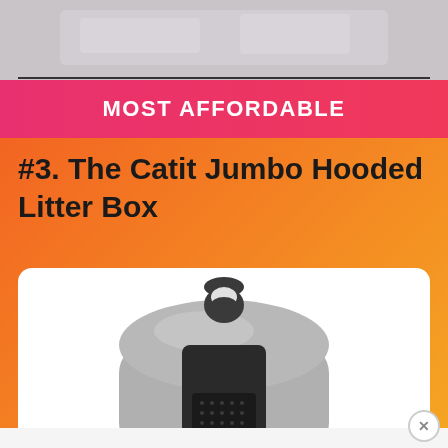[Figure (photo): Top portion of a blurred/cropped product image strip at the top of the page]
MOST AFFORDABLE
#3. The Catit Jumbo Hooded Litter Box
[Figure (photo): Product photo of the Catit Jumbo Hooded Litter Box — a gray hooded cat litter box with a dark front door/flap and a handle on top]